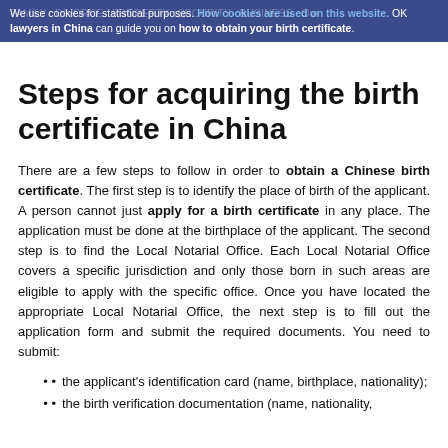We use cookies for statistical purposes. How cookies are used on this website. OK lawyers in China can guide you on how to obtain your birth certificate.
Steps for acquiring the birth certificate in China
There are a few steps to follow in order to obtain a Chinese birth certificate. The first step is to identify the place of birth of the applicant. A person cannot just apply for a birth certificate in any place. The application must be done at the birthplace of the applicant. The second step is to find the Local Notarial Office. Each Local Notarial Office covers a specific jurisdiction and only those born in such areas are eligible to apply with the specific office. Once you have located the appropriate Local Notarial Office, the next step is to fill out the application form and submit the required documents. You need to submit:
the applicant's identification card (name, birthplace, nationality);
the birth verification documentation (name, nationality,